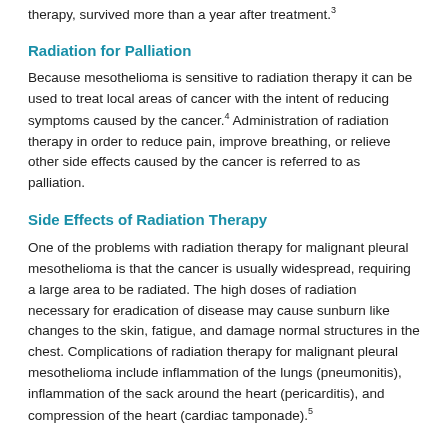therapy, survived more than a year after treatment.3
Radiation for Palliation
Because mesothelioma is sensitive to radiation therapy it can be used to treat local areas of cancer with the intent of reducing symptoms caused by the cancer.4 Administration of radiation therapy in order to reduce pain, improve breathing, or relieve other side effects caused by the cancer is referred to as palliation.
Side Effects of Radiation Therapy
One of the problems with radiation therapy for malignant pleural mesothelioma is that the cancer is usually widespread, requiring a large area to be radiated. The high doses of radiation necessary for eradication of disease may cause sunburn like changes to the skin, fatigue, and damage normal structures in the chest. Complications of radiation therapy for malignant pleural mesothelioma include inflammation of the lungs (pneumonitis), inflammation of the sack around the heart (pericarditis), and compression of the heart (cardiac tamponade).5